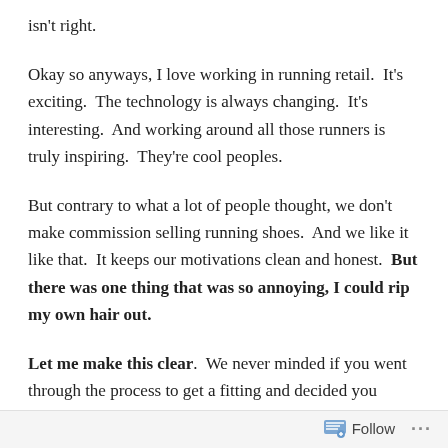isn't right.
Okay so anyways, I love working in running retail.  It's exciting.  The technology is always changing.  It's interesting.  And working around all those runners is truly inspiring.  They're cool peoples.
But contrary to what a lot of people thought, we don't make commission selling running shoes.  And we like it like that.  It keeps our motivations clean and honest.  But there was one thing that was so annoying, I could rip my own hair out.
Let me make this clear.  We never minded if you went through the process to get a fitting and decided you weren't ready to buy anything.  That's fine, and that's what the whole
Follow ...